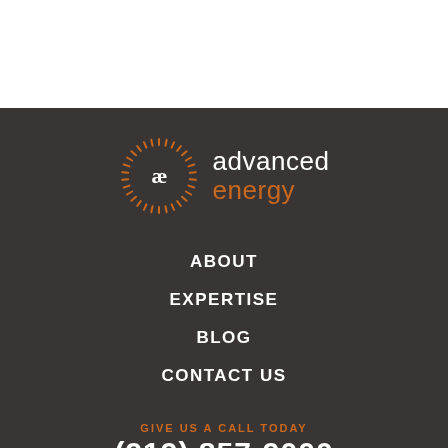[Figure (logo): Advanced Energy logo: circular orange sunburst ring with white AE monogram inside, next to text 'advanced energy' in white and orange]
ABOUT
EXPERTISE
BLOG
CONTACT US
GIVE US A CALL TODAY
(919) 857-9000